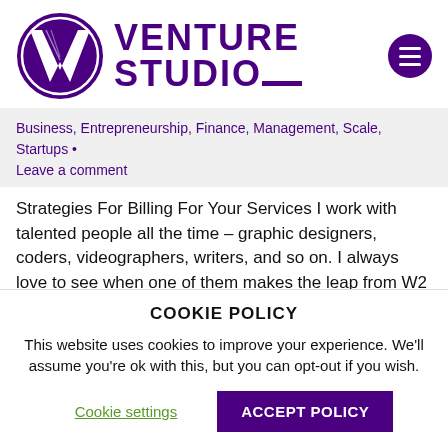[Figure (logo): Venture Studio logo: purple circle with white stylized V, next to bold purple VENTURE STUDIO_ text and a purple circular menu button]
Business, Entrepreneurship, Finance, Management, Scale, Startups • Leave a comment
Strategies For Billing For Your Services I work with talented people all the time – graphic designers, coders, videographers, writers, and so on. I always love to see when one of them makes the leap from W2 employee to independent entrepreneur. Where some freelancers get hung up is the
COOKIE POLICY
This website uses cookies to improve your experience. We'll assume you're ok with this, but you can opt-out if you wish.
Cookie settings   ACCEPT POLICY